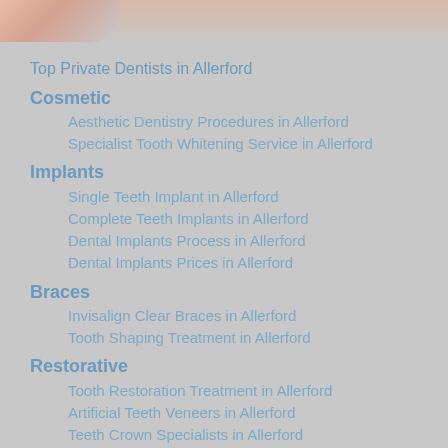[Figure (photo): Decorative image at top of page, showing a partial face or dental-related photo with warm skin tones fading into gray background]
Top Private Dentists in Allerford
Cosmetic
Aesthetic Dentistry Procedures in Allerford
Specialist Tooth Whitening Service in Allerford
Implants
Single Teeth Implant in Allerford
Complete Teeth Implants in Allerford
Dental Implants Process in Allerford
Dental Implants Prices in Allerford
Braces
Invisalign Clear Braces in Allerford
Tooth Shaping Treatment in Allerford
Restorative
Tooth Restoration Treatment in Allerford
Artificial Teeth Veneers in Allerford
Teeth Crown Specialists in Allerford
Fitting Tooth Bridges in Allerford
False Teeth Experts in Allerford
Urgent Dentist Appointment in Allerford
Dental Implant Abroad in Allerford